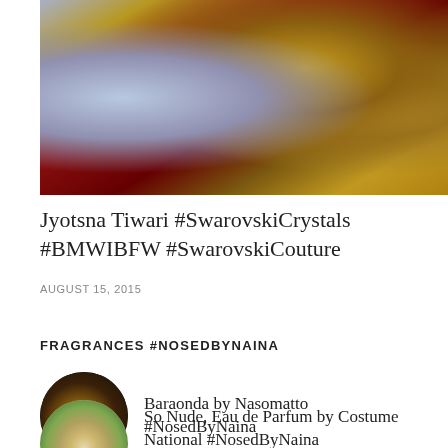[Figure (photo): Close-up photo of ornate embroidered/jeweled red fabric with gold and crystal embellishments, including floral and leaf patterns with dark beading.]
Jyotsna Tiwari #SwarovskiCrystals #BMWIBFW #SwarovskiCouture
AUGUST 15, 2015
FRAGRANCES #NOSEDBYNAINA
[Figure (photo): Circular thumbnail image of Baraonda by Nasomatto perfume bottles on dark background.]
Baraonda by Nasomatto #NosedByNaina
[Figure (photo): Circular thumbnail image of So Nude Eau de Parfum by Costume National with greenery background.]
So Nude, Eau de Parfum by Costume National #NosedByNaina